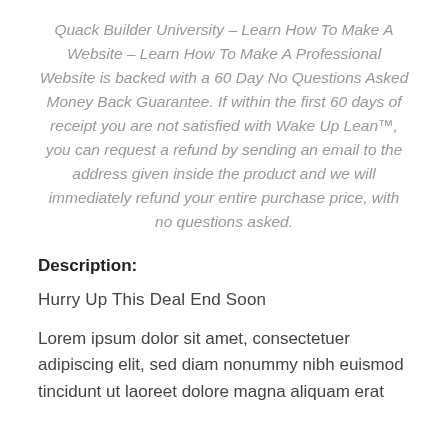Quack Builder University – Learn How To Make A Website – Learn How To Make A Professional Website is backed with a 60 Day No Questions Asked Money Back Guarantee. If within the first 60 days of receipt you are not satisfied with Wake Up Lean™, you can request a refund by sending an email to the address given inside the product and we will immediately refund your entire purchase price, with no questions asked.
Description:
Hurry Up This Deal End Soon
Lorem ipsum dolor sit amet, consectetuer adipiscing elit, sed diam nonummy nibh euismod tincidunt ut laoreet dolore magna aliquam erat